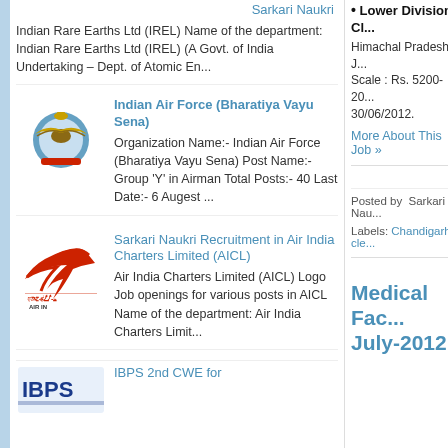Sarkari Naukri
Indian Rare Earths Ltd (IREL) Name of the department: Indian Rare Earths Ltd (IREL) (A Govt. of India Undertaking – Dept. of Atomic En...
[Figure (logo): Indian Air Force (Bharatiya Vayu Sena) emblem/logo]
Indian Air Force (Bharatiya Vayu Sena)
Organization Name:- Indian Air Force (Bharatiya Vayu Sena) Post Name:- Group 'Y' in Airman Total Posts:- 40 Last Date:- 6 Augest ...
[Figure (logo): Air India Charters Limited (AICL) logo with red bird/plane and Hindi text]
Sarkari Naukri Recruitment in Air India Charters Limited (AICL)
Air India Charters Limited (AICL) Logo Job openings for various posts in AICL Name of the department: Air India Charters Limit...
[Figure (logo): IBPS logo (blue)]
IBPS 2nd CWE for
• Lower Division Cl...
Himachal Pradesh, J... Scale : Rs. 5200-20... 30/06/2012.
More About This Job »
Posted by  Sarkari Nau...
Labels: Chandigarh, cle...
Medical Fac... July-2012